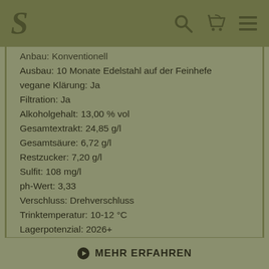S [logo] [search icon] [cart icon] [menu icon]
Anbau: Konventionell
Ausbau: 10 Monate Edelstahl auf der Feinhefe
vegane Klärung: Ja
Filtration: Ja
Alkoholgehalt: 13,00 % vol
Gesamtextrakt: 24,85 g/l
Gesamtsäure: 6,72 g/l
Restzucker: 7,20 g/l
Sulfit: 108 mg/l
ph-Wert: 3,33
Verschluss: Drehverschluss
Trinktemperatur: 10-12 °C
Lagerpotenzial: 2026+
Speiseempfehlung: Gemüsecremesuppe, gebratener Fisch
Allergene: enthält Sulfite
► MEHR ERFAHREN